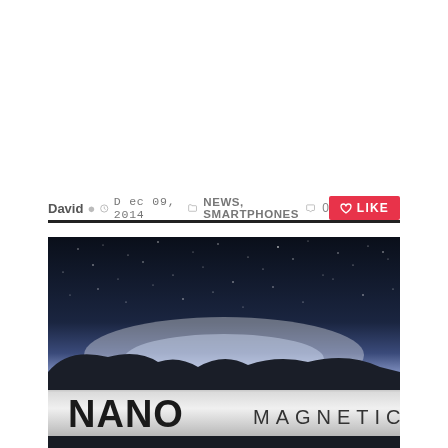David  Dec 09, 2014  NEWS, SMARTPHONES  0  LIKE
[Figure (photo): Night sky photo with starfield and horizon glow, overlaid with NANO MAGNETICS logo banner at the bottom]